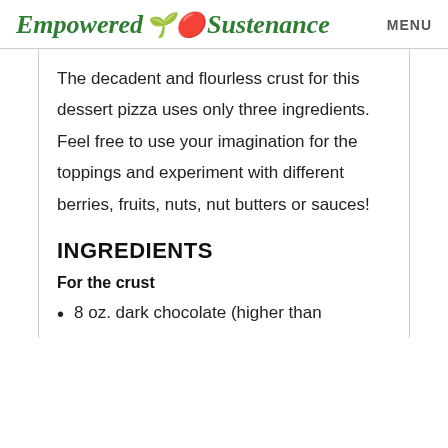Empowered Sustenance   MENU
The decadent and flourless crust for this dessert pizza uses only three ingredients. Feel free to use your imagination for the toppings and experiment with different berries, fruits, nuts, nut butters or sauces!
INGREDIENTS
For the crust
8 oz. dark chocolate (higher than